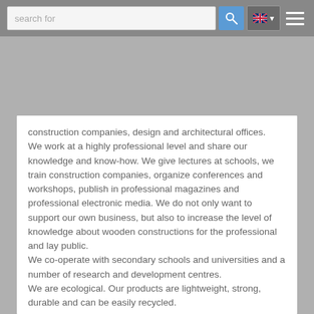search for [search bar] [EN flag dropdown] [hamburger menu]
construction companies, design and architectural offices.
We work at a highly professional level and share our knowledge and know-how. We give lectures at schools, we train construction companies, organize conferences and workshops, publish in professional magazines and professional electronic media. We do not only want to support our own business, but also to increase the level of knowledge about wooden constructions for the professional and lay public.
We co-operate with secondary schools and universities and a number of research and development centres.
We are ecological. Our products are lightweight, strong, durable and can be easily recycled.